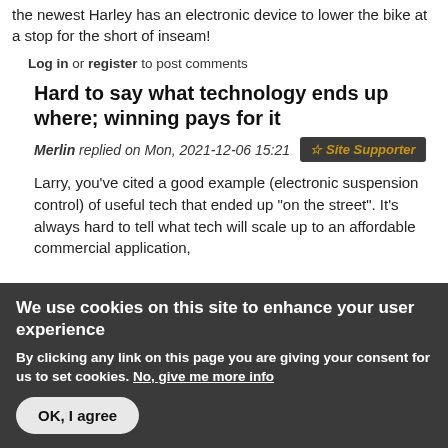the newest Harley has an electronic device to lower the bike at a stop for the short of inseam!
Log in or register to post comments
Hard to say what technology ends up where; winning pays for it
Merlin replied on Mon, 2021-12-06 15:21   ☆ Site Supporter
Larry, you've cited a good example (electronic suspension control) of useful tech that ended up "on the street". It's always hard to tell what tech will scale up to an affordable commercial application,
We use cookies on this site to enhance your user experience
By clicking any link on this page you are giving your consent for us to set cookies. No, give me more info
OK, I agree